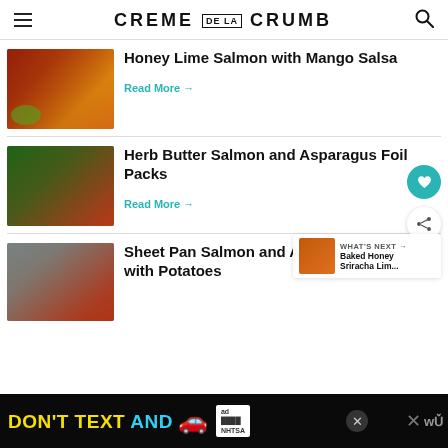CREME DE LA CRUMB
Honey Lime Salmon with Mango Salsa
Read More →
Herb Butter Salmon and Asparagus Foil Packs
Read More →
Sheet Pan Salmon and Asparagus with Potatoes
WHAT'S NEXT → Baked Honey Sriracha Lim...
[Figure (other): Advertisement banner: DON'T TEXT AND (car emoji) with NHTSA ad logo]